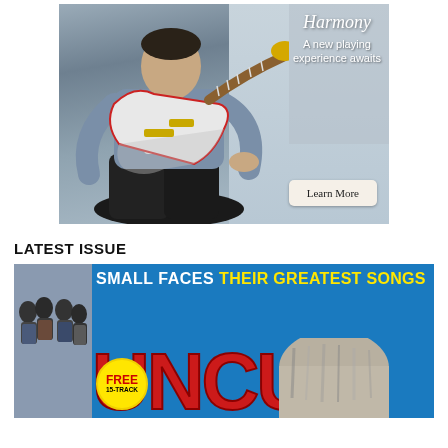[Figure (photo): Advertisement showing a man playing an electric guitar (red and white body, yellow headstock) seated outdoors. Text overlay reads 'Harmony - A new playing experience awaits' with a 'Learn More' button.]
LATEST ISSUE
[Figure (photo): Magazine cover of UNCUT featuring 'SMALL FACES THEIR GREATEST SONGS' headline in white and yellow text on blue background. Large red UNCUT logo. Small Faces band photo on left. FREE 15-TRACK badge. Partial view of a person's head at bottom.]